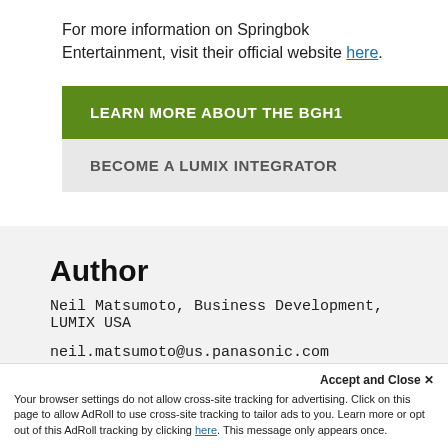For more information on Springbok Entertainment, visit their official website here.
LEARN MORE ABOUT THE BGH1
BECOME A LUMIX INTEGRATOR
Author
Neil Matsumoto, Business Development, LUMIX USA
neil.matsumoto@us.panasonic.com
Accept and Close ✕
Your browser settings do not allow cross-site tracking for advertising. Click on this page to allow AdRoll to use cross-site tracking to tailor ads to you. Learn more or opt out of this AdRoll tracking by clicking here. This message only appears once.